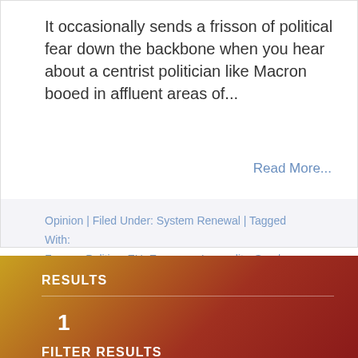It occasionally sends a frisson of political fear down the backbone when you hear about a centrist politician like Macron booed in affluent areas of...
Read More...
Opinion | Filed Under: System Renewal | Tagged With: France, Politics, EU, Economy, Inequality, Surplus Energy, Peak Oil
RESULTS
1
FILTER RESULTS